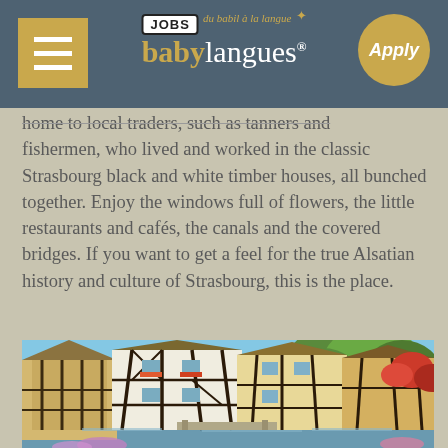babylangues JOBS - Apply
home to local traders, such as tanners and fishermen, who lived and worked in the classic Strasbourg black and white timber houses, all bunched together. Enjoy the windows full of flowers, the little restaurants and cafés, the canals and the covered bridges. If you want to get a feel for the true Alsatian history and culture of Strasbourg, this is the place.
[Figure (photo): Photo of Strasbourg half-timbered black and white houses along a canal, with trees and flowers, sunny day]